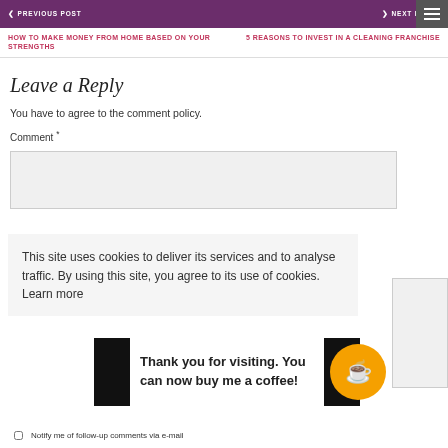PREVIOUS POST | NEXT POST
HOW TO MAKE MONEY FROM HOME BASED ON YOUR STRENGTHS
5 REASONS TO INVEST IN A CLEANING FRANCHISE
Leave a Reply
You have to agree to the comment policy.
Comment *
This site uses cookies to deliver its services and to analyse traffic. By using this site, you agree to its use of cookies. Learn more
Thank you for visiting. You can now buy me a coffee!
Notify me of follow-up comments via e-mail